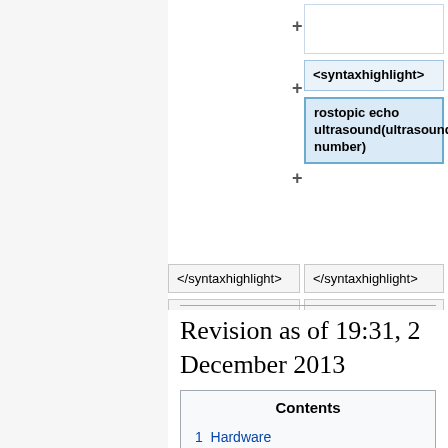[Figure (screenshot): Wikipedia diff view showing two columns of code boxes. Right column shows boxes with '+' additions: an empty box, a '<syntaxhighlight>' box, and a 'rostopic echo ultrasound(ultrasound number)' box. Bottom row shows '</syntaxhighlight>' boxes in both left and right columns, plus empty boxes below each.]
Revision as of 19:31, 2 December 2013
| Contents |
| --- |
| 1  Hardware |
| 1.1  Structure modifications |
| 1.2  Ultrasonic Sensors Belt |